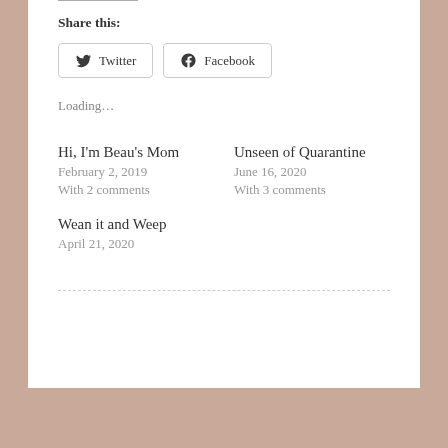Share this:
Twitter  Facebook
Loading…
Hi, I'm Beau's Mom
February 2, 2019
With 2 comments
Unseen of Quarantine
June 16, 2020
With 3 comments
Wean it and Weep
April 21, 2020